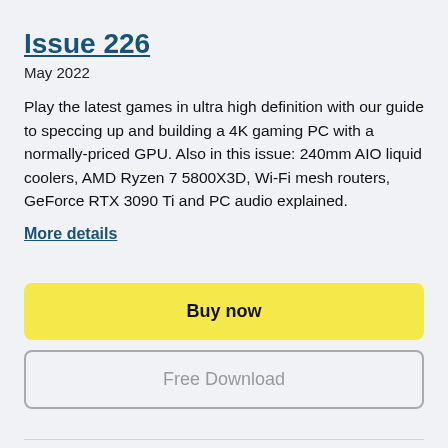Issue 226
May 2022
Play the latest games in ultra high definition with our guide to speccing up and building a 4K gaming PC with a normally-priced GPU. Also in this issue: 240mm AIO liquid coolers, AMD Ryzen 7 5800X3D, Wi-Fi mesh routers, GeForce RTX 3090 Ti and PC audio explained.
More details
Buy now
Free Download
Issue 225